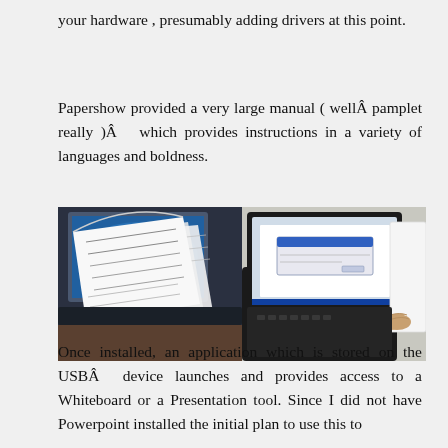your hardware , presumably adding drivers at this point.
Papershow provided a very large manual ( wellÂ pamplet really )Â  which provides instructions in a variety of languages and boldness.
[Figure (photo): Two side-by-side photos: left shows fanned paper/manual pages in front of a laptop screen; right shows a hand at a laptop keyboard with a white screen or device visible.]
Once installed, an application which is stored on the USBÂ  device launches and provides access to a Whiteboard or a Presentation tool. Since I did not have Powerpoint installed the initial plan to use this to